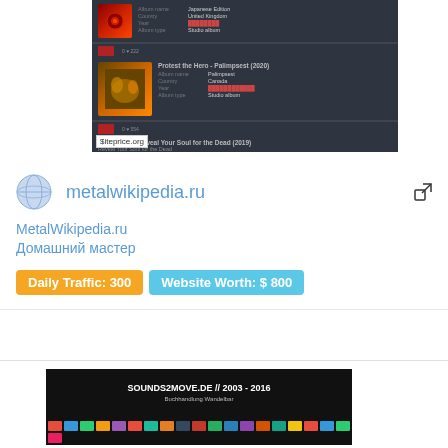[Figure (screenshot): Dark-themed website screenshot showing album listings for metalwikipedia.ru including Protest the Hero Palimpsest and Indisposed - Reveal Your Soul for the Dead, with siteprice.org watermark]
metalwikipedia.ru
MetalWikipedia.ru
Домашний мастер
Daily Traffic: 300  Website Worth: $ 800
[Figure (screenshot): SOUNDS2MOVE.DE // 2003 - 2016 website screenshot showing colorful cassette tapes on black background]